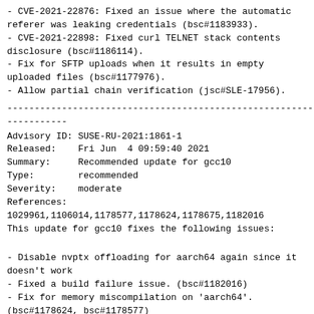- CVE-2021-22876: Fixed an issue where the automatic referer was leaking credentials (bsc#1183933).
- CVE-2021-22898: Fixed curl TELNET stack contents disclosure (bsc#1186114).
- Fix for SFTP uploads when it results in empty uploaded files (bsc#1177976).
- Allow partial chain verification (jsc#SLE-17956).
-------------------------------------------------------------------------------
-----------
Advisory ID: SUSE-RU-2021:1861-1
Released:    Fri Jun  4 09:59:40 2021
Summary:     Recommended update for gcc10
Type:        recommended
Severity:    moderate
References:
1029961,1106014,1178577,1178624,1178675,1182016
This update for gcc10 fixes the following issues:
- Disable nvptx offloading for aarch64 again since it doesn't work
- Fixed a build failure issue. (bsc#1182016)
- Fix for memory miscompilation on 'aarch64'. (bsc#1178624, bsc#1178577)
- Fix 32bit 'libgnat.so' link. (bsc#1178675)
- prepare usrmerge: Install libgcc_s into %_libdir. ABI wise it stays /%lib. (bsc#1029961)
- Build complete set of multilibs for arm-none target. (bsc#1106014)